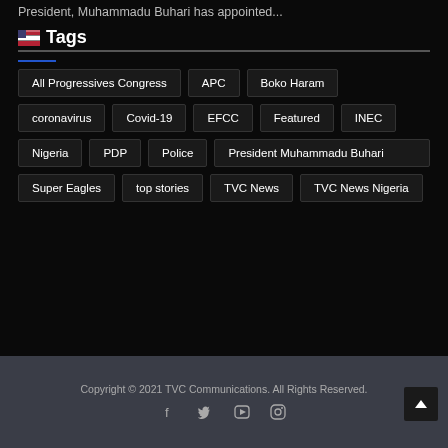President, Muhammadu Buhari has appointed...
Tags
All Progressives Congress
APC
Boko Haram
coronavirus
Covid-19
EFCC
Featured
INEC
Nigeria
PDP
Police
President Muhammadu Buhari
Super Eagles
top stories
TVC News
TVC News Nigeria
Copyright © 2021 TVC Communications. All Rights Reserved.